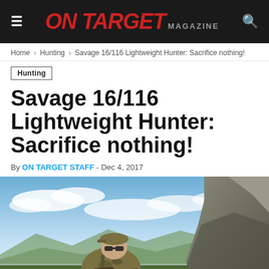ON TARGET MAGAZINE
Home › Hunting › Savage 16/116 Lightweight Hunter: Sacrifice nothing!
Hunting
Savage 16/116 Lightweight Hunter: Sacrifice nothing!
By ON TARGET STAFF - Dec 4, 2017
[Figure (photo): A hunter in camouflage clothing and cap, wearing sunglasses, crouching among rocks on a mountaintop with a rifle, blue sky and mountain range visible in background.]